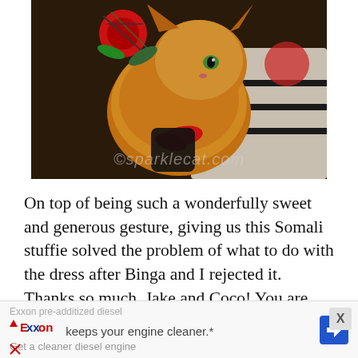[Figure (photo): An orange/brown fluffy cat (Somali stuffie) wearing a red bow and holding a black object, with a plaid red accessory. Watermark reads ©sparklecat.com at the bottom.]
On top of being such a wonderfully sweet and generous gesture, giving us this Somali stuffie solved the problem of what to do with the dress after Binga and I rejected it. Thanks so much, Jake and Coco! You are both awesome!
[Figure (infographic): Advertisement banner: Exxon ad with text 'Exxon pre-additized diesel keeps your engine cleaner.* Get a cleaner diesel engine' with Exxon logo, blue diamond arrow icon, and a close X button.]